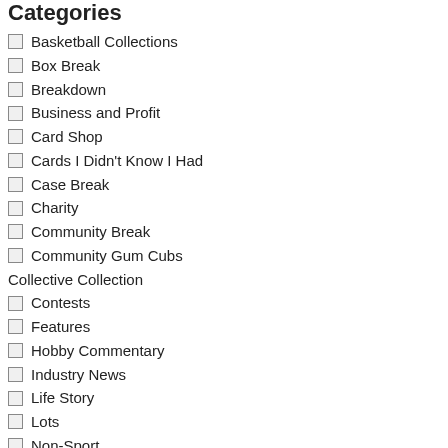Categories
Basketball Collections
Box Break
Breakdown
Business and Profit
Card Shop
Cards I Didn't Know I Had
Case Break
Charity
Community Break
Community Gum Cubs
Collective Collection
Contests
Features
Hobby Commentary
Industry News
Life Story
Lots
Non-Sport
NPN
On the Road
Pack Break
Player Collections
Previews
Review
Royals On-Card Auto
Collection
b all c ar d c oll e cti n g) b y p e o pl e th at I w o ul d p er s o n